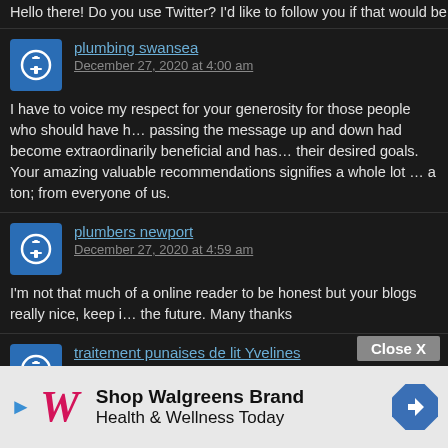Hello there! Do you use Twitter? I'd like to follow you if that would be okay. I'm de…
plumbing swansea
December 27, 2020 at 4:00 am

I have to voice my respect for your generosity for those people who should have h… passing the message up and down had become extraordinarily beneficial and has… their desired goals. Your amazing valuable recommendations signifies a whole lot … a ton; from everyone of us.
plumbers newport
December 27, 2020 at 4:59 am

I'm not that much of a online reader to be honest but your blogs really nice, keep i… the future. Many thanks
traitement punaises de lit Yvelines
December 27, 2020 at 7:11 am

Thanks fo… that type of presenta… nation.
[Figure (advertisement): Walgreens advertisement: Shop Walgreens Brand Health & Wellness Today, with Walgreens logo and navigation arrow icon. Close X button visible.]